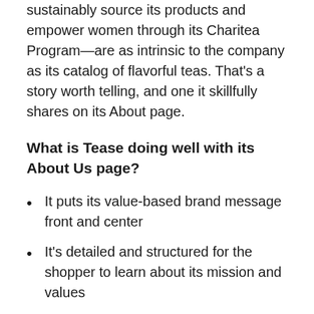sustainably source its products and empower women through its Charitea Program—are as intrinsic to the company as its catalog of flavorful teas. That's a story worth telling, and one it skillfully shares on its About page.
What is Tease doing well with its About Us page?
It puts its value-based brand message front and center
It's detailed and structured for the shopper to learn about its mission and values
It clearly explains its founding story and who the founder is